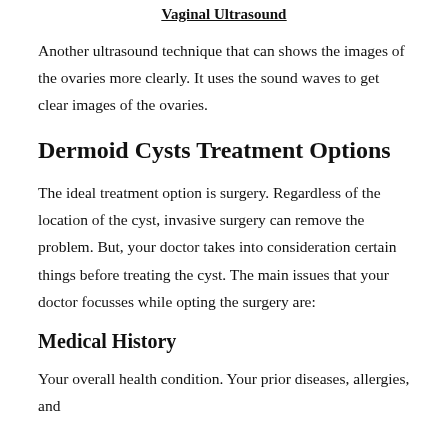Vaginal Ultrasound
Another ultrasound technique that can shows the images of the ovaries more clearly. It uses the sound waves to get clear images of the ovaries.
Dermoid Cysts Treatment Options
The ideal treatment option is surgery. Regardless of the location of the cyst, invasive surgery can remove the problem. But, your doctor takes into consideration certain things before treating the cyst. The main issues that your doctor focusses while opting the surgery are:
Medical History
Your overall health condition. Your prior diseases, allergies, and